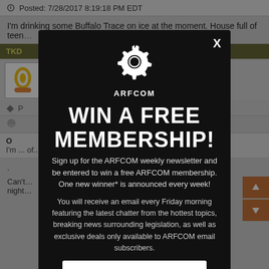Posted: 7/28/2017 8:19:18 PM EDT
I'm drinking some Buffalo Trace on ice at the moment. House full of teen...
TKD
A, USA
P...
O...
I'm ... of...
Can't... :30 night...
[Figure (screenshot): ARFCOM popup modal overlay with logo, WIN A FREE MEMBERSHIP! headline, newsletter signup description, and email input field]
WIN A FREE MEMBERSHIP!
Sign up for the ARFCOM weekly newsletter and be entered to win a free ARFCOM membership. One new winner* is announced every week!
You will receive an email every Friday morning featuring the latest chatter from the hottest topics, breaking news surrounding legislation, as well as exclusive deals only available to ARFCOM email subscribers.